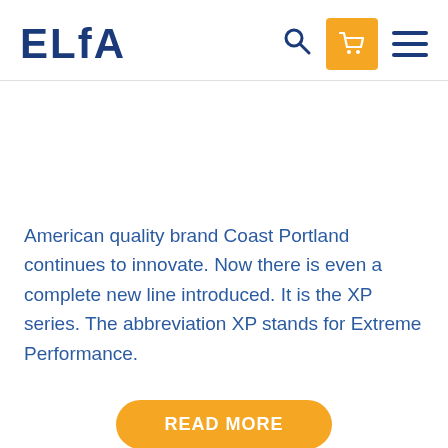ELFA
American quality brand Coast Portland continues to innovate. Now there is even a complete new line introduced. It is the XP series. The abbreviation XP stands for Extreme Performance.
READ MORE